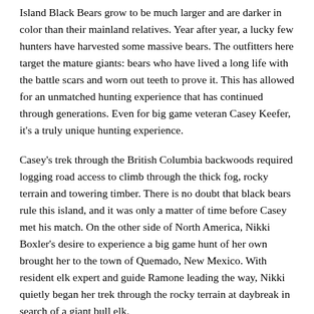Island Black Bears grow to be much larger and are darker in color than their mainland relatives. Year after year, a lucky few hunters have harvested some massive bears. The outfitters here target the mature giants: bears who have lived a long life with the battle scars and worn out teeth to prove it. This has allowed for an unmatched hunting experience that has continued through generations. Even for big game veteran Casey Keefer, it's a truly unique hunting experience.
Casey's trek through the British Columbia backwoods required logging road access to climb through the thick fog, rocky terrain and towering timber. There is no doubt that black bears rule this island, and it was only a matter of time before Casey met his match. On the other side of North America, Nikki Boxler's desire to experience a big game hunt of her own brought her to the town of Quemado, New Mexico. With resident elk expert and guide Ramone leading the way, Nikki quietly began her trek through the rocky terrain at daybreak in search of a giant bull elk.
As the duo positioned themselves above the valley, Nikki spotted a sure shooter: a giant Rocky Mountain bull. When the Golden Hour